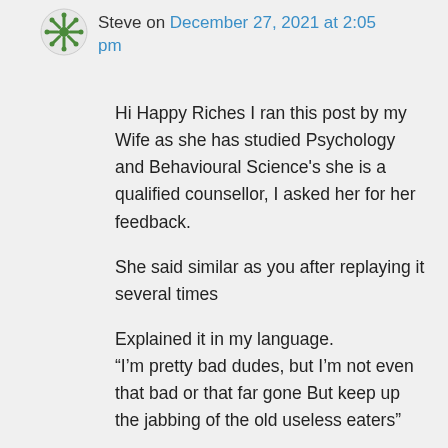Steve on December 27, 2021 at 2:05 pm
Hi Happy Riches I ran this post by my Wife as she has studied Psychology and Behavioural Science's she is a qualified counsellor, I asked her for her feedback.
She said similar as you after replaying it several times
Explained it in my language.
“I’m pretty bad dudes, but I’m not even that bad or that far gone But keep up the jabbing of the old useless eaters”